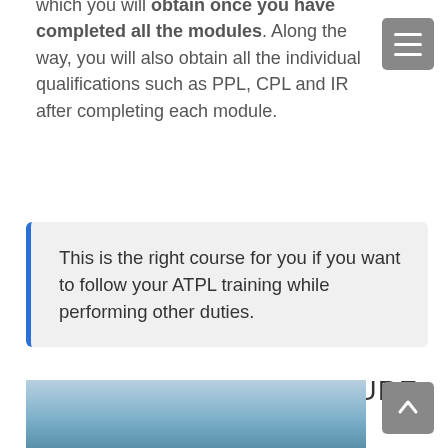which you will obtain once you have completed all the modules. Along the way, you will also obtain all the individual qualifications such as PPL, CPL and IR after completing each module.
This is the right course for you if you want to follow your ATPL training while performing other duties.
PROGRAMME STRUCTURE
[Figure (photo): Partial photo of an aircraft, partially visible at the bottom of the page]